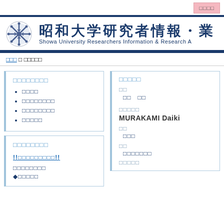昭和大学研究者情報・業 Showa University Researchers Information & Research A
□□□ □ □□□□□
□□□□□□□□
□□□□
□□□□□□□□
□□□□□□□□
□□□□□
□□□□□□□□
!!□□□□□□□□□!!
□□□□□□□□
◆□□□□□
□□□□□
□□
□□　□□
□□□□□
MURAKAMI Daiki
□□
□□□
□□
□□□□□□□